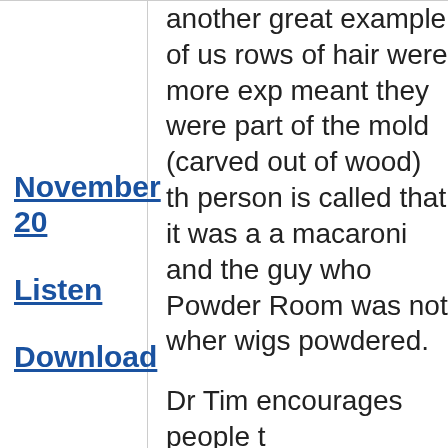another great example of us... rows of hair were more exp... meant they were part of the... mold (carved out of wood) th... person is called that it was a... a macaroni and the guy who... Powder Room was not wher... wigs powdered.
November 20
Listen
Download
Dr Tim encourages people t...
michael said if there was en... summer at HeartLand. Julie... Forgiveness and Work which...